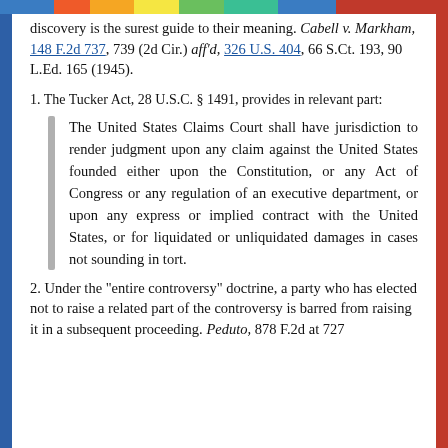discovery is the surest guide to their meaning. Cabell v. Markham, 148 F.2d 737, 739 (2d Cir.) aff'd, 326 U.S. 404, 66 S.Ct. 193, 90 L.Ed. 165 (1945).
1. The Tucker Act, 28 U.S.C. § 1491, provides in relevant part:
The United States Claims Court shall have jurisdiction to render judgment upon any claim against the United States founded either upon the Constitution, or any Act of Congress or any regulation of an executive department, or upon any express or implied contract with the United States, or for liquidated or unliquidated damages in cases not sounding in tort.
2. Under the "entire controversy" doctrine, a party who has elected not to raise a related part of the controversy is barred from raising it in a subsequent proceeding. Peduto, 878 F.2d at 727